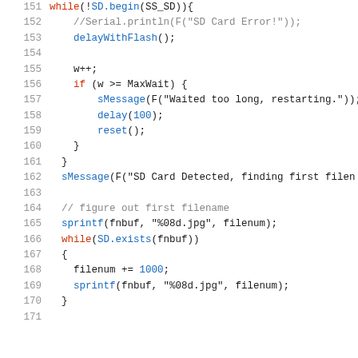Source code listing, lines 151-171, Arduino/C++ style code
151: while(!SD.begin(SS_SD)){
152:     //Serial.println(F("SD Card Error!"));
153:     delayWithFlash();
154:
155:     w++;
156:     if (w >= MaxWait) {
157:         sMessage(F("Waited too long, restarting."));
158:         delay(100);
159:         reset();
160:     }
161:     }
162:     sMessage(F("SD Card Detected, finding first filen
163:
164:     // figure out first filename
165:     sprintf(fnbuf, "%08d.jpg", filenum);
166:     while(SD.exists(fnbuf))
167:     {
168:         filenum += 1000;
169:         sprintf(fnbuf, "%08d.jpg", filenum);
170:     }
171: